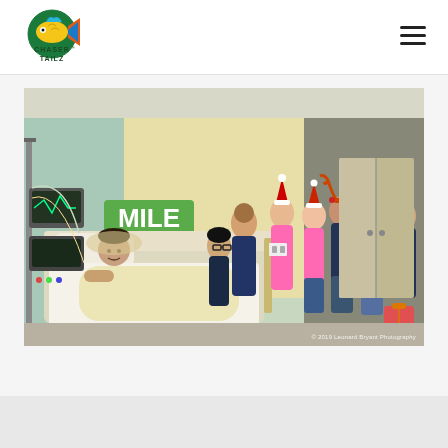[Figure (logo): ChaserTailz logo — colorful fish with text]
[Figure (photo): Group photo in a hospital room: a child patient lying in a hospital bed, surrounded by a group of visitors and staff wearing Christmas hats, reindeer antlers, and pink shirts. A sign reading 'MILE' is visible on the wall. Watermark reads '© 2019 Leonard Bryant Photography'.]